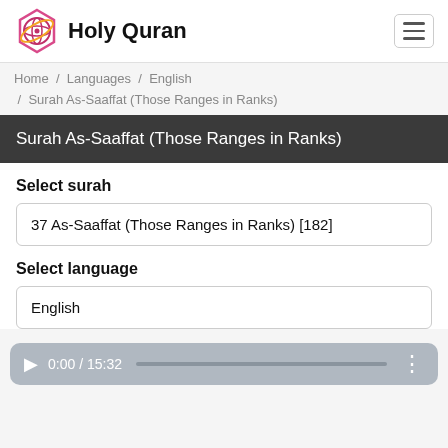Holy Quran
Home / Languages / English / Surah As-Saaffat (Those Ranges in Ranks)
Surah As-Saaffat (Those Ranges in Ranks)
Select surah
37 As-Saaffat (Those Ranges in Ranks) [182]
Select language
English
[Figure (screenshot): Audio player bar showing play button, time 0:00 / 15:32, progress bar, and menu dots]